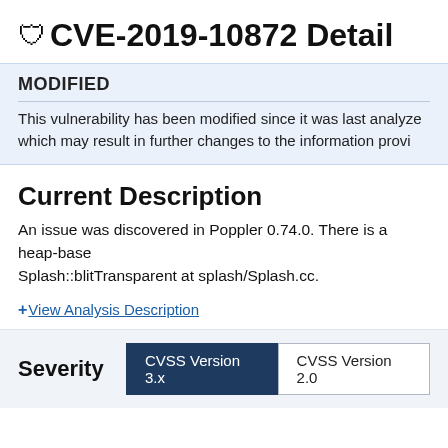CVE-2019-10872 Detail
MODIFIED
This vulnerability has been modified since it was last analyzed which may result in further changes to the information provi...
Current Description
An issue was discovered in Poppler 0.74.0. There is a heap-base... Splash::blitTransparent at splash/Splash.cc.
+View Analysis Description
| Severity | CVSS Version 3.x | CVSS Version 2.0 |
| --- | --- | --- |